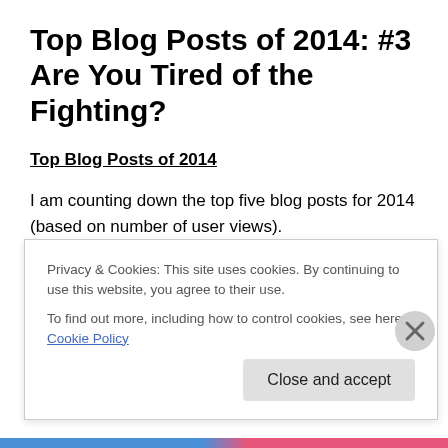Top Blog Posts of 2014: #3 Are You Tired of the Fighting?
Top Blog Posts of 2014
I am counting down the top five blog posts for 2014 (based on number of user views).
#3 – Are You Tired of the Fighting?
This post challenges us to embrace love of neighbor, humility, and self-sacrifice in our relationships instead fear
Privacy & Cookies: This site uses cookies. By continuing to use this website, you agree to their use.
To find out more, including how to control cookies, see here: Cookie Policy